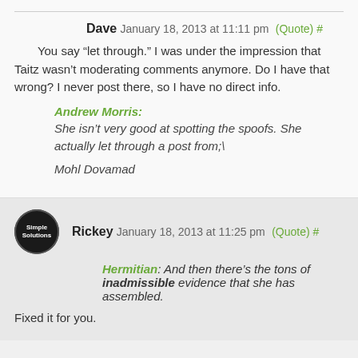Dave January 18, 2013 at 11:11 pm (Quote) #
You say “let through.” I was under the impression that Taitz wasn’t moderating comments anymore. Do I have that wrong? I never post there, so I have no direct info.
Andrew Morris: She isn’t very good at spotting the spoofs. She actually let through a post from;\
Mohl Dovamad
Rickey January 18, 2013 at 11:25 pm (Quote) #
Hermitian: And then there’s the tons of inadmissible evidence that she has assembled.
Fixed it for you.